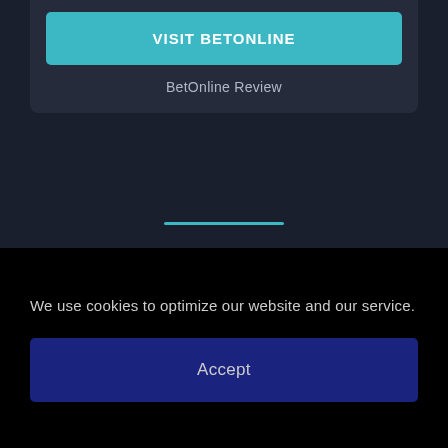[Figure (other): Visit BetOnline button card with teal/cyan button and review link]
BetOnline Review
HOW DOES MASTERCARD WORK FOR ESPORTS BETS
We use cookies to optimize our website and our service.
Accept